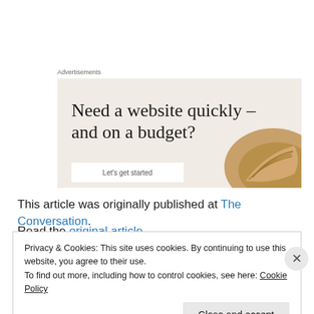Advertisements
[Figure (illustration): Advertisement banner with beige/cream background showing text 'Need a website quickly – and on a budget?' and 'Let us build it for you' with a button 'Let's get started' and a decorative image of a croissant on the right side.]
This article was originally published at The Conversation.
Read the original article
Privacy & Cookies: This site uses cookies. By continuing to use this website, you agree to their use.
To find out more, including how to control cookies, see here: Cookie Policy
Close and accept